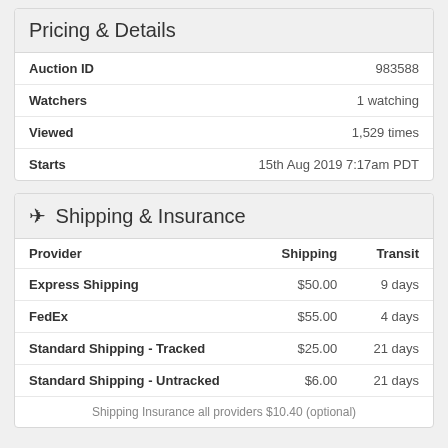Pricing & Details
| Auction ID | 983588 |
| Watchers | 1 watching |
| Viewed | 1,529 times |
| Starts | 15th Aug 2019 7:17am PDT |
✈ Shipping & Insurance
| Provider | Shipping | Transit |
| --- | --- | --- |
| Express Shipping | $50.00 | 9 days |
| FedEx | $55.00 | 4 days |
| Standard Shipping - Tracked | $25.00 | 21 days |
| Standard Shipping - Untracked | $6.00 | 21 days |
Shipping Insurance all providers $10.40 (optional)